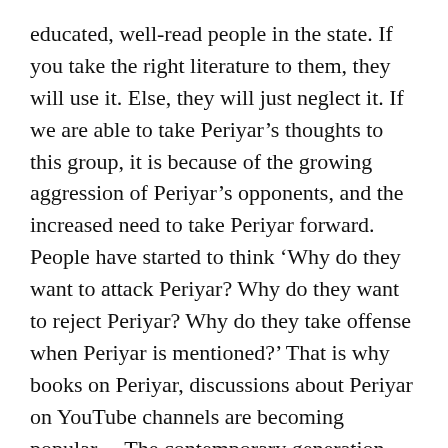educated, well-read people in the state. If you take the right literature to them, they will use it. Else, they will just neglect it. If we are able to take Periyar’s thoughts to this group, it is because of the growing aggression of Periyar’s opponents, and the increased need to take Periyar forward. People have started to think ‘Why do they want to attack Periyar? Why do they want to reject Periyar? Why do they take offense when Periyar is mentioned?’ That is why books on Periyar, discussions about Periyar on YouTube channels are becoming popular… The contemporary generation thinks that by reading Periyar they can compete in the contemporary political world. Many believe that Periyar is necessary to tackle politics today.
TPP: You have written a lot about ecological issues, like the protests against neutrino, methane projects in Tamil...